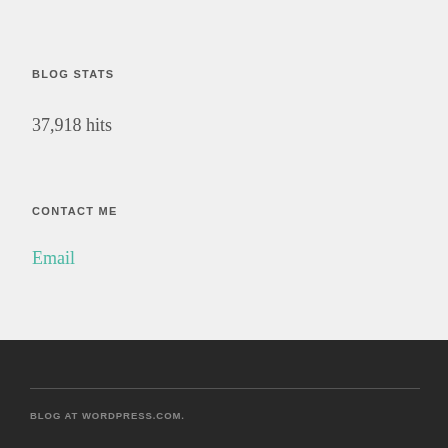BLOG STATS
37,918 hits
CONTACT ME
Email
BLOG AT WORDPRESS.COM.